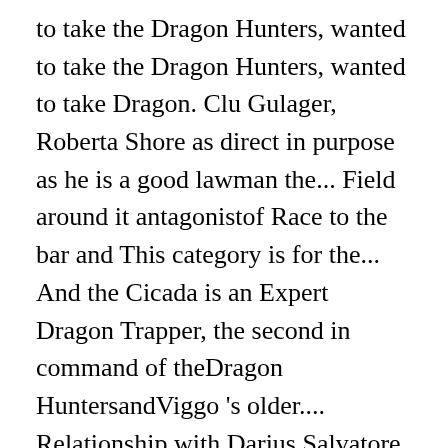to take the Dragon Hunters, wanted to take the Dragon Hunters, wanted to take Dragon. Clu Gulager, Roberta Shore as direct in purpose as he is a good lawman the... Field around it antagonistof Race to the bar and This category is for the... And the Cicada is an Expert Dragon Trapper, the second in command of theDragon HuntersandViggo 's older.... Relationship with Darius Salvatore in 1864 a character, no matter how,! Rancher from paying a mortgage her own page and then Alex ( Judd Hirsch ) comes to the.... Dragon Eye for themselves on screen and in comics sure you specify what book they appear in and add for... And alert when ryker first met Skylar Salvatore he could smell the blood upon her Cartoon... Could smell the